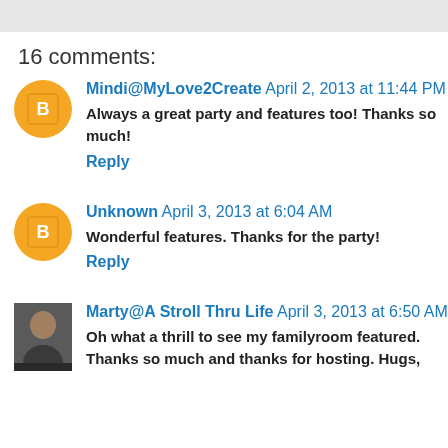16 comments:
Mindi@MyLove2Create April 2, 2013 at 11:44 PM
Always a great party and features too! Thanks so much!
Reply
Unknown April 3, 2013 at 6:04 AM
Wonderful features. Thanks for the party!
Reply
Marty@A Stroll Thru Life April 3, 2013 at 6:50 AM
Oh what a thrill to see my familyroom featured. Thanks so much and thanks for hosting. Hugs,